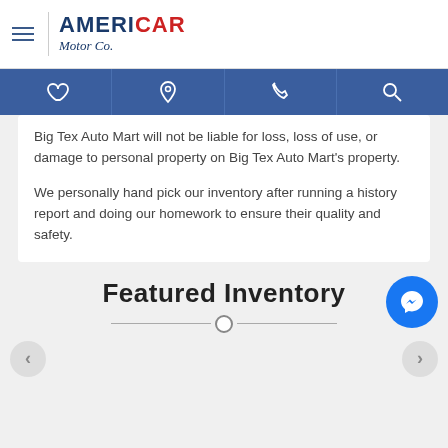AMERICAR Motor Co.
Big Tex Auto Mart will not be liable for loss, loss of use, or damage to personal property on Big Tex Auto Mart's property.
We personally hand pick our inventory after running a history report and doing our homework to ensure their quality and safety.
Featured Inventory